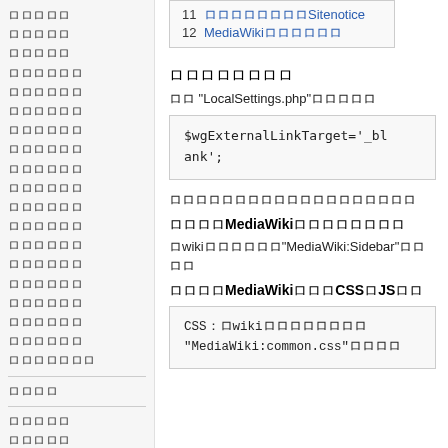ロロロロロ
ロロロロロ
ロロロロロ
ロロロロロロ
ロロロロロロ
ロロロロロロ
ロロロロロロ
ロロロロロロ
ロロロロロロ
ロロロロロロ
ロロロロロロ
ロロロロロロ
ロロロロロロ
ロロロロロロ
ロロロロロロ
ロロロロロロ
ロロロロロロ
ロロロロロロ
ロロロロロロロ
ロロロロ
ロロロロロ
ロロロロロ
ロロロロ
ロロロ
|  |  |
| --- | --- |
| 11 | ロロロロロロロロSitenotice |
| 12 | MediaWikiロロロロロロ |
ロロロロロロロロ
ロロ "LocalSettings.php"ロロロロロ
$wgExternalLinkTarget='_blank';
ロロロロロロロロロロロロロロロロロロロ
ロロロロMediaWikiロロロロロロロロ
ロwikiロロロロロロ"MediaWiki:Sidebar"ロロロロ
ロロロロMediaWikiロロロCSSロJSロロ
CSS：ロwikiロロロロロロロロ
"MediaWiki:common.css"ロロロロ